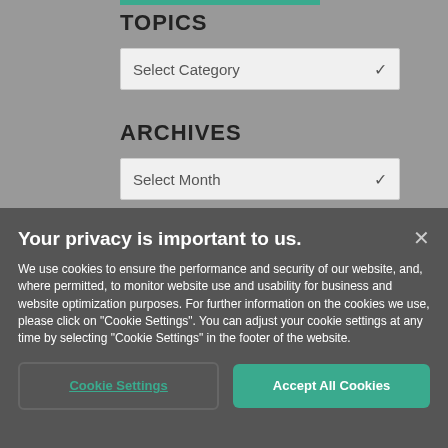TOPICS
Select Category
ARCHIVES
Select Month
Your privacy is important to us.
We use cookies to ensure the performance and security of our website, and, where permitted, to monitor website use and usability for business and website optimization purposes. For further information on the cookies we use, please click on "Cookie Settings". You can adjust your cookie settings at any time by selecting "Cookie Settings" in the footer of the website.
Cookie Settings
Accept All Cookies